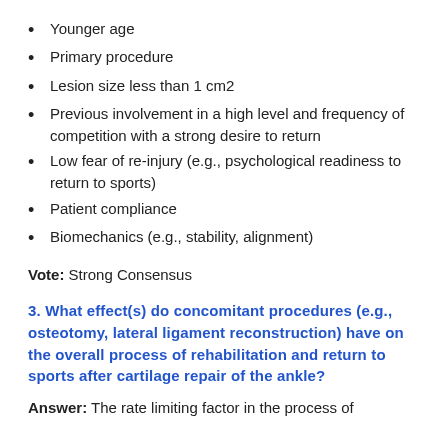Younger age
Primary procedure
Lesion size less than 1 cm2
Previous involvement in a high level and frequency of competition with a strong desire to return
Low fear of re-injury (e.g., psychological readiness to return to sports)
Patient compliance
Biomechanics (e.g., stability, alignment)
Vote: Strong Consensus
3. What effect(s) do concomitant procedures (e.g., osteotomy, lateral ligament reconstruction) have on the overall process of rehabilitation and return to sports after cartilage repair of the ankle?
Answer: The rate limiting factor in the process of